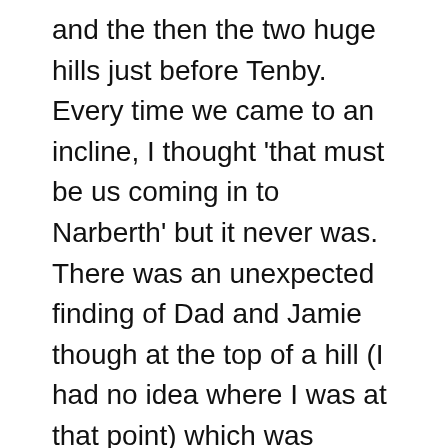and the then the two huge hills just before Tenby. Every time we came to an incline, I thought 'that must be us coming in to Narberth' but it never was. There was an unexpected finding of Dad and Jamie though at the top of a hill (I had no idea where I was at that point) which was hugely welcome. When we finally did get to Narberth after an even bigger climb, the crowds there were magic – there was music pumping and a marvellous woman on a loud speaker cheering every one of us on.
By this point we were nearly 100km in and I had a bit of a wobble. I had been cycling for hours but